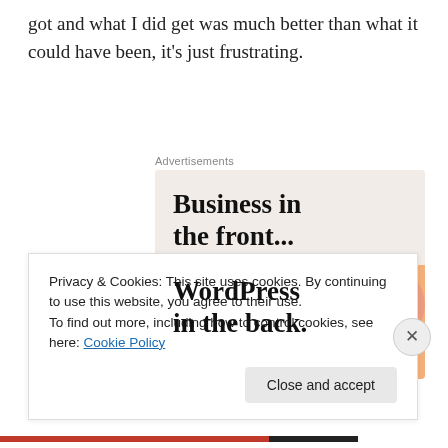got and what I did get was much better than what it could have been, it's just frustrating.
[Figure (illustration): Advertisement banner: top section with light beige background showing bold text 'Business in the front...' and bottom section with orange/peach background with decorative blobs showing bold text 'WordPress in the back.']
Privacy & Cookies: This site uses cookies. By continuing to use this website, you agree to their use.
To find out more, including how to control cookies, see here: Cookie Policy
Close and accept